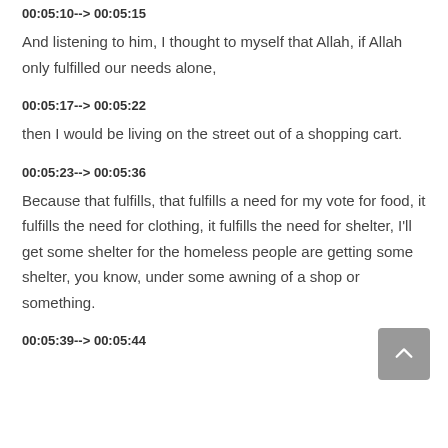00:05:10--> 00:05:15
And listening to him, I thought to myself that Allah, if Allah only fulfilled our needs alone,
00:05:17--> 00:05:22
then I would be living on the street out of a shopping cart.
00:05:23--> 00:05:36
Because that fulfills, that fulfills a need for my vote for food, it fulfills the need for clothing, it fulfills the need for shelter, I'll get some shelter for the homeless people are getting some shelter, you know, under some awning of a shop or something.
00:05:39--> 00:05:44